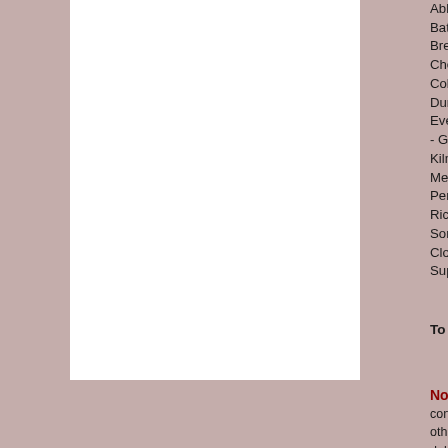[Figure (other): White rectangle on a mauve/dusty rose background forming the left panel layout]
Abbots Leigh - Ashwick - Avonmouth - Bath - Beckington - Berrow - Biddisham - Brent Knoll - Bristol - Burnham-on-Sea - Chew Magna - Chew Stoke - Chilcompton - Coleford - Compton Bishop - Compton Dundry - Dunkerton - East Brent - East Evercreech - Failand - Farmborough - Gurney Slade - Highbridge - Highbury - Kilmersdon - Kingston Seymour - Langton - Mells - Midsomer Norton - Monkton Combe - Pensford - Pilton - Portishead - Prestleigh - Rickford - Ridgehill - Rodney Stoke - Somerton - Stanton Drew - Star - Stavecloud - Tickenham - Timsbury - Trowbridge - Super-Mare - West Pennard - Whatley
To book your Massage at a convenient time...
Note: DISCLAIMER: This information is not intended to be a substitute for professional medical advice. The content is not intended to be a substitute for professional medical advice. Always seek the guidance of your doctor or other qualified health provider with any questions you may have regarding a medical condition. Never disregard professional medical advice or delay in seeking it because of something you have read on this website.
Experience the wonders of massage therapy... It's a small investment in your...
Copyright © Philip Chave 2010-2022  TheHaven...